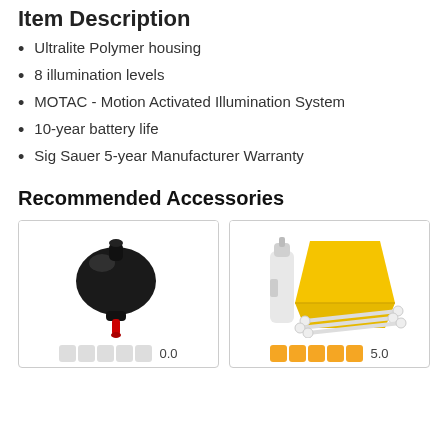Item Description
Ultralite Polymer housing
8 illumination levels
MOTAC - Motion Activated Illumination System
10-year battery life
Sig Sauer 5-year Manufacturer Warranty
Recommended Accessories
[Figure (photo): Black rubber air blower with red nozzle tip, used for cleaning optics]
[Figure (photo): Lens cleaning kit with white spray bottle, yellow microfiber cloth, and cotton swabs]
0.0
5.0